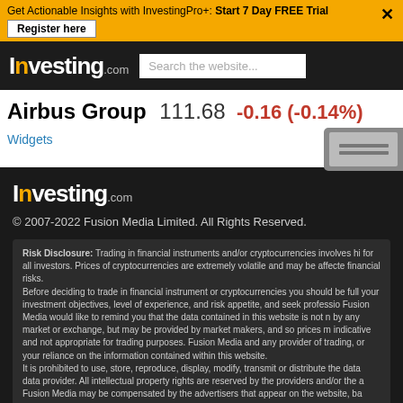Get Actionable Insights with InvestingPro+: Start 7 Day FREE Trial — Register here
[Figure (logo): Investing.com logo in white on dark header bar with search box]
Airbus Group  111.68  -0.16 (-0.14%)
Widgets
[Figure (photo): Smartphone device image on right side]
[Figure (logo): Investing.com logo in white on dark footer background]
© 2007-2022 Fusion Media Limited. All Rights Reserved.
Risk Disclosure: Trading in financial instruments and/or cryptocurrencies involves hi for all investors. Prices of cryptocurrencies are extremely volatile and may be affecte financial risks. Before deciding to trade in financial instrument or cryptocurrencies you should be full your investment objectives, level of experience, and risk appetite, and seek professio Fusion Media would like to remind you that the data contained in this website is not n by any market or exchange, but may be provided by market makers, and so prices m indicative and not appropriate for trading purposes. Fusion Media and any provider of trading, or your reliance on the information contained within this website. It is prohibited to use, store, reproduce, display, modify, transmit or distribute the data data provider. All intellectual property rights are reserved by the providers and/or the Fusion Media may be compensated by the advertisers that appear on the website, ba
AIR Comments